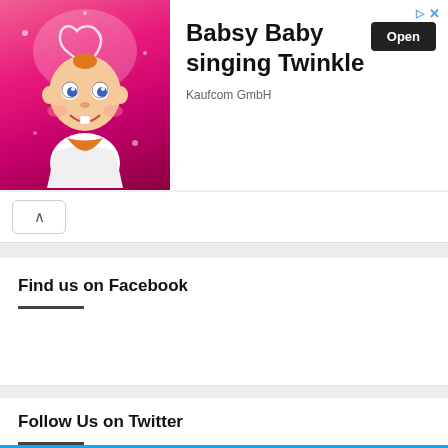[Figure (illustration): Advertisement banner showing a cartoon baby character with a heart halo on a pink sparkly background. Text reads 'Babsy Baby singing Twinkle' with 'Open' button and 'Kaufcom GmbH' subtitle.]
Find us on Facebook
Follow Us on Twitter
Tweets from @GroundedParents